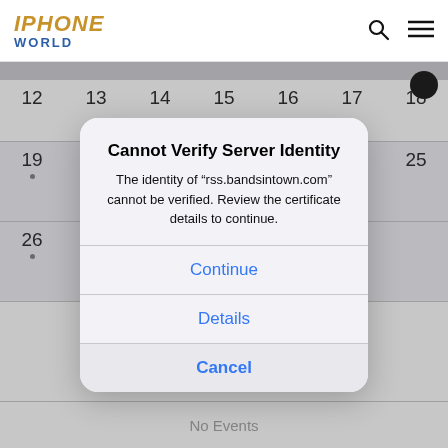IPHONE WORLD
[Figure (screenshot): iOS Calendar app screenshot showing calendar dates 12-18, 19-25, 26 with a modal alert dialog overlaid. The alert dialog is titled 'Cannot Verify Server Identity' with message 'The identity of "rss.bandsintown.com" cannot be verified. Review the certificate details to continue.' and three buttons: Continue, Details, Cancel.]
Cannot Verify Server Identity
The identity of “rss.bandsintown.com” cannot be verified. Review the certificate details to continue.
Continue
Details
Cancel